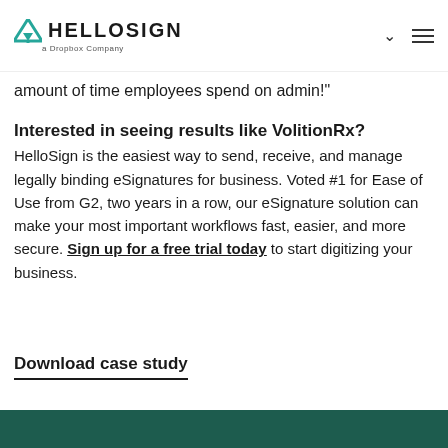HELLOSIGN a Dropbox Company
amount of time employees spend on admin!"
Interested in seeing results like VolitionRx?
HelloSign is the easiest way to send, receive, and manage legally binding eSignatures for business. Voted #1 for Ease of Use from G2, two years in a row, our eSignature solution can make your most important workflows fast, easier, and more secure. Sign up for a free trial today to start digitizing your business.
Download case study